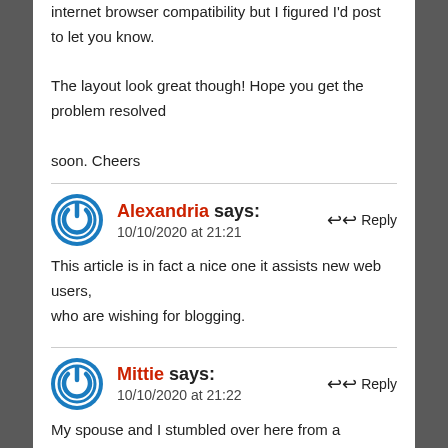internet browser compatibility but I figured I'd post to let you know.
The layout look great though! Hope you get the problem resolved
soon. Cheers
Alexandria says:
10/10/2020 at 21:21
This article is in fact a nice one it assists new web users, who are wishing for blogging.
Mittie says:
10/10/2020 at 21:22
My spouse and I stumbled over here from a different